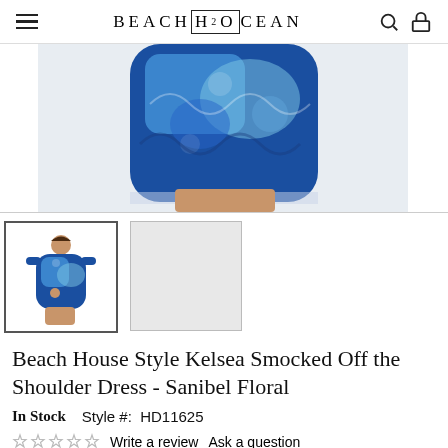BEACHH2OCEAN
[Figure (photo): Close-up of a model wearing a blue floral off-the-shoulder smocked dress, cropped at mid-thigh]
[Figure (photo): Thumbnail of a model wearing the full blue floral dress]
[Figure (photo): Second thumbnail placeholder, light grey background]
Beach House Style Kelsea Smocked Off the Shoulder Dress - Sanibel Floral
In Stock   Style #:  HD11625
Write a review  Ask a question
$110.00